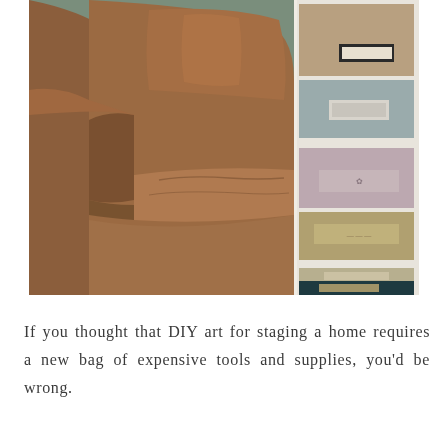[Figure (photo): A brown leather armchair with worn texture, placed next to a white shelving unit filled with decorative storage boxes in various patterns including leopard print, gray, mauve, gold, and teal/dark blue. The background wall is sage green.]
If you thought that DIY art for staging a home requires a new bag of expensive tools and supplies, you'd be wrong.